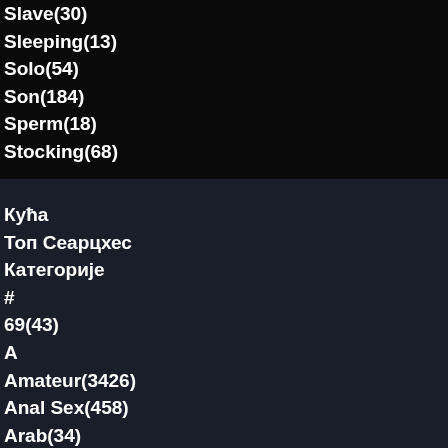Slave(30)
Sleeping(13)
Solo(54)
Son(184)
Sperm(18)
Stocking(68)
(partially visible)
Кућа
Топ Сеарцхес
Категорије
#
69(43)
A
Amateur(3426)
Anal Sex(458)
Arab(34)
Asian(144)
Ass(1515)
Ass licking(13)
B
BBW(6177)
BDSM(23)
Babe(360)
Babysitter(12)